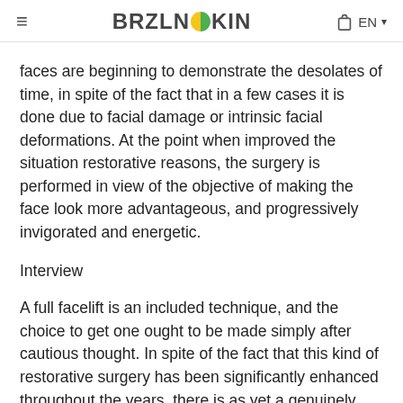≡  BRZLNSKIN  EN
faces are beginning to demonstrate the desolates of time, in spite of the fact that in a few cases it is done due to facial damage or intrinsic facial deformations. At the point when improved the situation restorative reasons, the surgery is performed in view of the objective of making the face look more advantageous, and progressively invigorated and energetic.
Interview
A full facelift is an included technique, and the choice to get one ought to be made simply after cautious thought. In spite of the fact that this kind of restorative surgery has been significantly enhanced throughout the years, there is as yet a genuinely extensive recuperation process, and it…